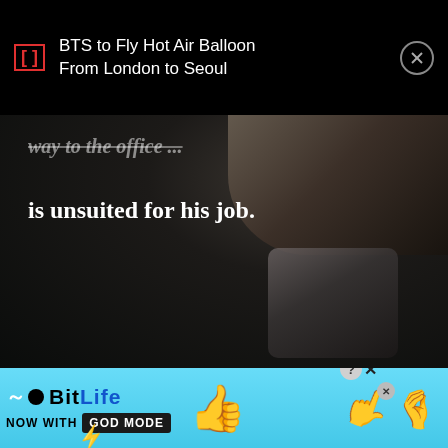BTS to Fly Hot Air Balloon From London to Seoul
[Figure (photo): Dark moody photo showing partial text overlaid on image of a person holding a briefcase. Text reads 'way to the office ...' (struck through) and 'is unsuited for his job.']
[Figure (infographic): BitLife app advertisement banner with cyan/blue background. Shows BitLife logo, text 'NOW WITH GOD MODE', thumbs up emoji, pointing hand illustration, and close/question buttons.]